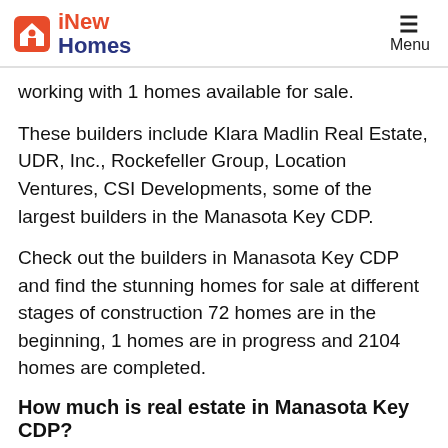iNew Homes — Menu
working with 1 homes available for sale.
These builders include Klara Madlin Real Estate, UDR, Inc., Rockefeller Group, Location Ventures, CSI Developments, some of the largest builders in the Manasota Key CDP.
Check out the builders in Manasota Key CDP and find the stunning homes for sale at different stages of construction 72 homes are in the beginning, 1 homes are in progress and 2104 homes are completed.
How much is real estate in Manasota Key CDP?
If you want to get an overview of homes sale prices in Manasota Key CDP, you can sort all the available homes for sale based on price. Set the minimum and maximum price range, there are 1 homes for sale